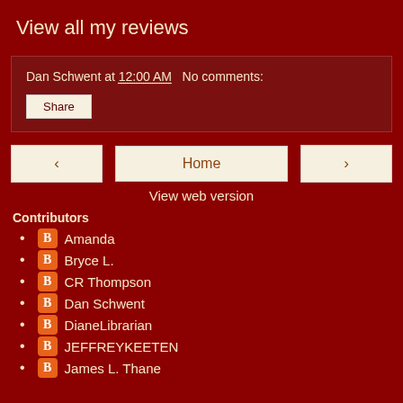View all my reviews
Dan Schwent at 12:00 AM   No comments:
Share
‹   Home   ›
View web version
Contributors
Amanda
Bryce L.
CR Thompson
Dan Schwent
DianeLibrarian
JEFFREYKEETEN
James L. Thane